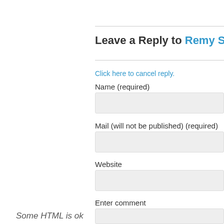Leave a Reply to Remy Sha
Click here to cancel reply.
Name (required)
Mail (will not be published) (required)
Website
Enter comment
Some HTML is ok